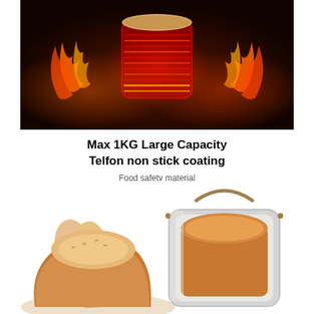[Figure (photo): Product photo of a bread maker heating element/pan glowing red with flames around it on a dark background, showing intense heat]
Max 1KG Large Capacity
Telfon non stick coating
Food safety material
[Figure (photo): Photo of a silver bread pan with handle containing a baked bread loaf, with sliced bread loaves visible to the left on a white background]